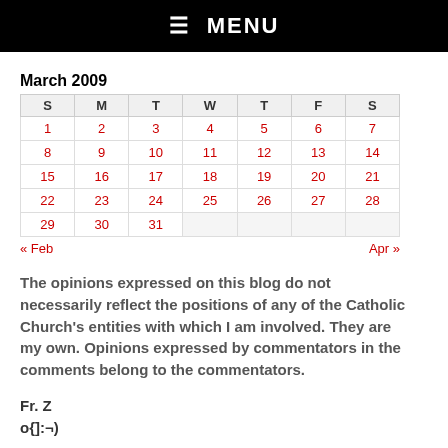☰ MENU
| S | M | T | W | T | F | S |
| --- | --- | --- | --- | --- | --- | --- |
| 1 | 2 | 3 | 4 | 5 | 6 | 7 |
| 8 | 9 | 10 | 11 | 12 | 13 | 14 |
| 15 | 16 | 17 | 18 | 19 | 20 | 21 |
| 22 | 23 | 24 | 25 | 26 | 27 | 28 |
| 29 | 30 | 31 |  |  |  |  |
« Feb    Apr »
The opinions expressed on this blog do not necessarily reflect the positions of any of the Catholic Church's entities with which I am involved. They are my own. Opinions expressed by commentators in the comments belong to the commentators.
Fr. Z
o{]:¬)
SEARCH